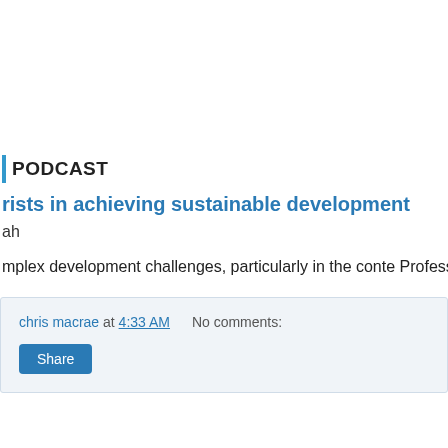PODCAST
rists in achieving sustainable development
ah
mplex development challenges, particularly in the conte Professor Sohail Inayatullah, UNESCO Inaugural Chair
chris macrae at 4:33 AM   No comments:   Share